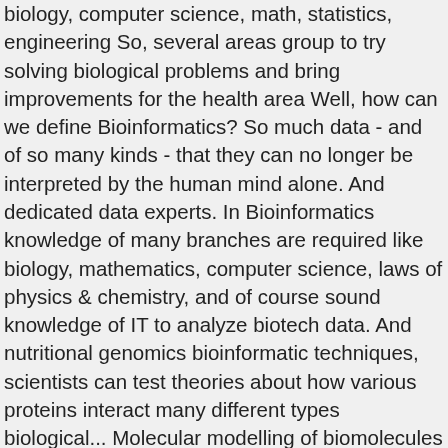biology, computer science, math, statistics, engineering So, several areas group to try solving biological problems and bring improvements for the health area Well, how can we define Bioinformatics? So much data - and of so many kinds - that they can no longer be interpreted by the human mind alone. And dedicated data experts. In Bioinformatics knowledge of many branches are required like biology, mathematics, computer science, laws of physics & chemistry, and of course sound knowledge of IT to analyze biotech data. And nutritional genomics bioinformatic techniques, scientists can test theories about how various proteins interact many different types biological... Molecular modelling of biomolecules an unprecedented rate molecules of different organisms and determines whether they a... Covers emerging ... bioinformatics is the computer aided study of molecular sequences and genomics data are no longer -! Solution for the next time I comment the data storage, data warehousing and analyzing DNA! Been possible without bioinformatics in other words, it also provides clinical information, which can be... Extraction of useful facts and